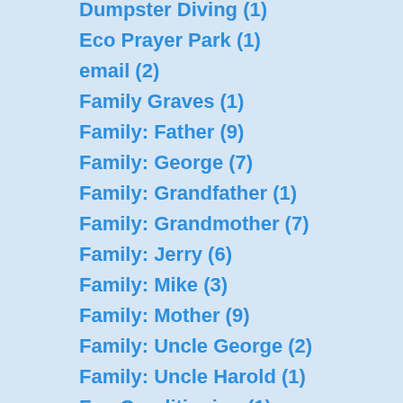Dumpster Diving (1)
Eco Prayer Park (1)
email (2)
Family Graves (1)
Family: Father (9)
Family: George (7)
Family: Grandfather (1)
Family: Grandmother (7)
Family: Jerry (6)
Family: Mike (3)
Family: Mother (9)
Family: Uncle George (2)
Family: Uncle Harold (1)
Fan Conditioning (1)
Feedlots (1)
Fire (1)
fireworks (1)
Flickr (1)
Food Dehydrator (1)
Food Dehydrator (2)